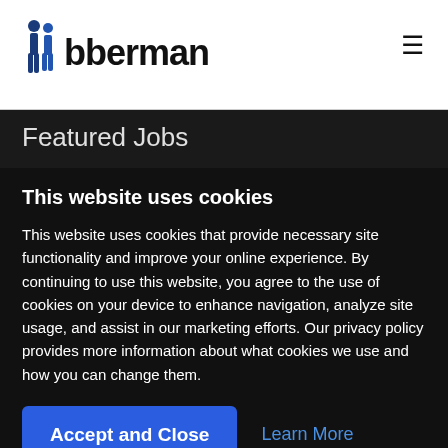Jobberman
Featured Jobs
This website uses cookies
This website uses cookies that provide necessary site functionality and improve your online experience. By continuing to use this website, you agree to the use of cookies on your device to enhance navigation, analyze site usage, and assist in our marketing efforts. Our privacy policy provides more information about what cookies we use and how you can change them.
Accept and Close
Learn More
Job Function : Management & Business
2 weeks ago